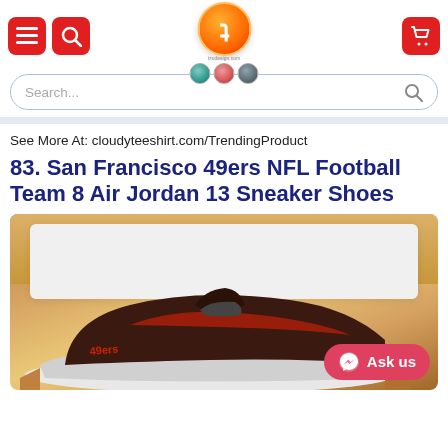[Figure (screenshot): Website header with hamburger menu icon and search icon (red buttons), orange/red circular logo with 't' letter in center and three badge icons below, and red cart button on right]
[Figure (screenshot): Search bar with rounded border and search icon on right, placeholder text 'Search...']
See More At: cloudyteeshirt.com/TrendingProduct
83. San Francisco 49ers NFL Football Team 8 Air Jordan 13 Sneaker Shoes
[Figure (photo): Photo of dark red/black Air Jordan 13 sneaker shoes in a cardboard box with white tissue paper, with 'Ask us' Messenger button overlay in bottom right]